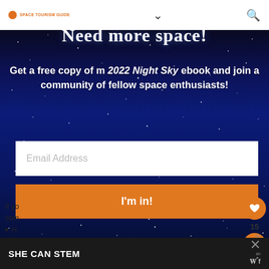SPACE TOURISM GUIDE
Need more space!
Get a free copy of m 2022 Night Sky ebook and join a community of fellow space enthusiasts!
Email Address
I'm in!
If yo som
H a
SHE CAN STEM